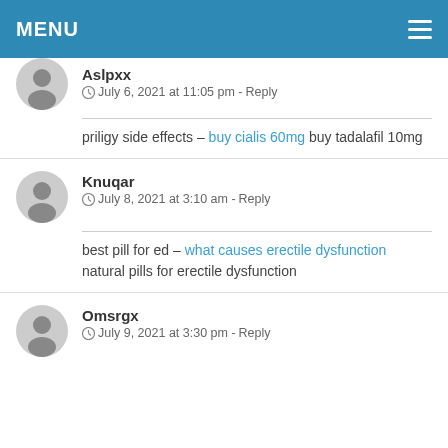MENU
Aslpxx
July 6, 2021 at 11:05 pm - Reply
priligy side effects – buy cialis 60mg buy tadalafil 10mg
Knuqar
July 8, 2021 at 3:10 am - Reply
best pill for ed – what causes erectile dysfunction natural pills for erectile dysfunction
Omsrgx
July 9, 2021 at 3:30 pm - Reply